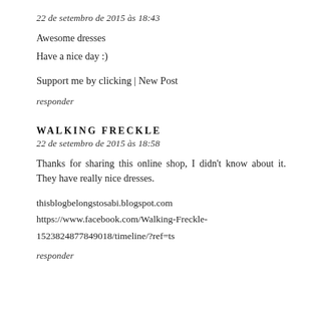22 de setembro de 2015 às 18:43
Awesome dresses
Have a nice day :)
Support me by clicking | New Post
responder
WALKING FRECKLE
22 de setembro de 2015 às 18:58
Thanks for sharing this online shop, I didn't know about it. They have really nice dresses.
thisblogbelongstosabi.blogspot.com
https://www.facebook.com/Walking-Freckle-1523824877849018/timeline/?ref=ts
responder